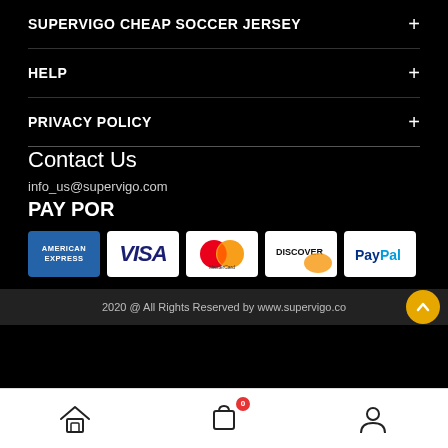SUPERVIGO CHEAP SOCCER JERSEY
HELP
PRIVACY POLICY
Contact Us
info_us@supervigo.com
PAY POR
[Figure (logo): Payment method logos: American Express, Visa, MasterCard, Discover, PayPal]
2020 @ All Rights Reserved by www.supervigo.com
[Figure (infographic): Bottom navigation bar with home icon, shopping cart icon with badge showing 0, and user/account icon]